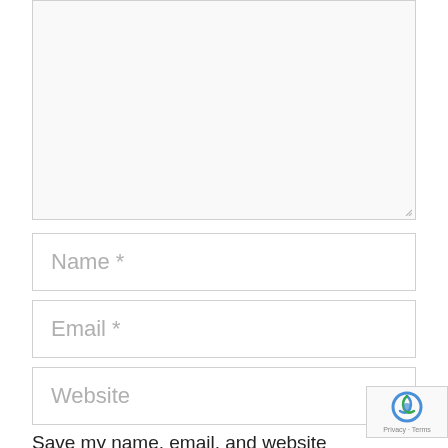[Figure (screenshot): Empty textarea input field with light gray background and resize handle in bottom-right corner]
Name *
Email *
Website
Save my name, email, and website